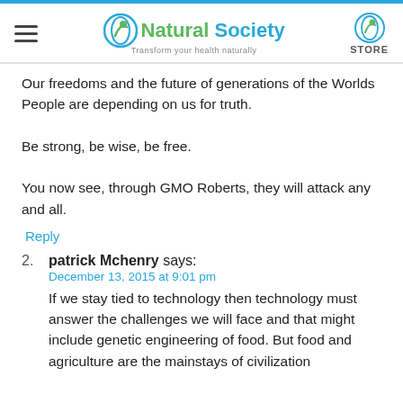Natural Society — Transform your health naturally
Our freedoms and the future of generations of the Worlds People are depending on us for truth.

Be strong, be wise, be free.

You now see, through GMO Roberts, they will attack any and all.
Reply
2. patrick Mchenry says:
December 13, 2015 at 9:01 pm
If we stay tied to technology then technology must answer the challenges we will face and that might include genetic engineering of food. But food and agriculture are the mainstays of civilization